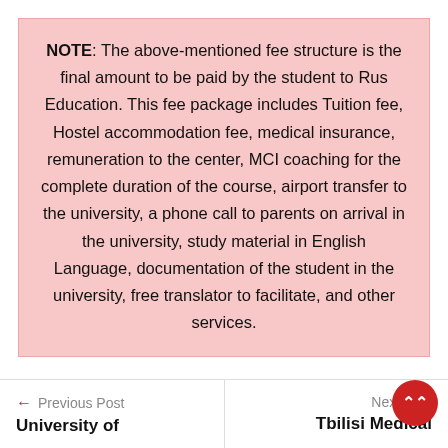NOTE: The above-mentioned fee structure is the final amount to be paid by the student to Rus Education. This fee package includes Tuition fee, Hostel accommodation fee, medical insurance, remuneration to the center, MCI coaching for the complete duration of the course, airport transfer to the university, a phone call to parents on arrival in the university, study material in English Language, documentation of the student in the university, free translator to facilitate, and other services.
← Previous Post | University of ... | Next Post | Tbilisi Medical